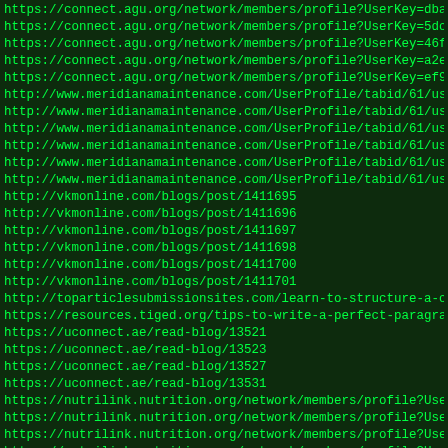List of URLs including connect.agu.org, meridianamaintenance.com, vkmonline.com, toparticlesubmissionsites.com, resources.tiged.org, uconnect.ae, nutrilink.nutrition.org profiles and blog posts